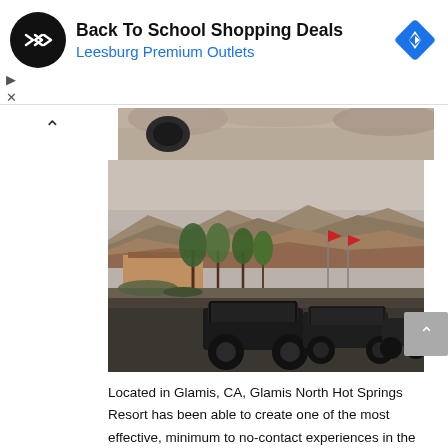[Figure (screenshot): Advertisement banner for 'Back To School Shopping Deals' at Leesburg Premium Outlets, with a circular black logo with double arrow symbol and a blue diamond navigation icon on the right. Below the banner are playback/close controls (triangle and X icons).]
[Figure (photo): Partial photo strip showing rocky/dusty terrain — appears to be the top portion of a vehicle photo.]
[Figure (photo): Outdoor photo showing black off-road UTV/side-by-side vehicles parked on asphalt in front of palm trees and a building, with rocky mountains in the background under a hazy sky. Location is Glamis, CA.]
Located in Glamis, CA, Glamis North Hot Springs Resort has been able to create one of the most effective, minimum to no-contact experiences in the region by providing a completely contact-less